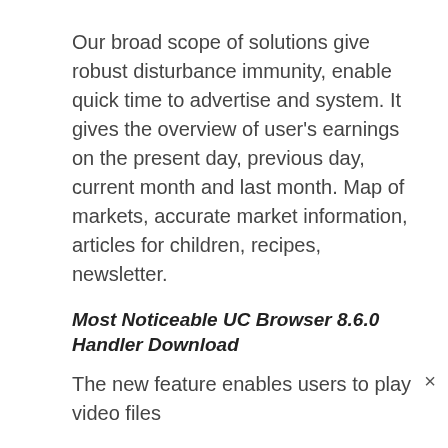Our broad scope of solutions give robust disturbance immunity, enable quick time to advertise and system. It gives the overview of user's earnings on the present day, previous day, current month and last month. Map of markets, accurate market information, articles for children, recipes, newsletter.
Most Noticeable UC Browser 8.6.0 Handler Download
The new feature enables users to play video files